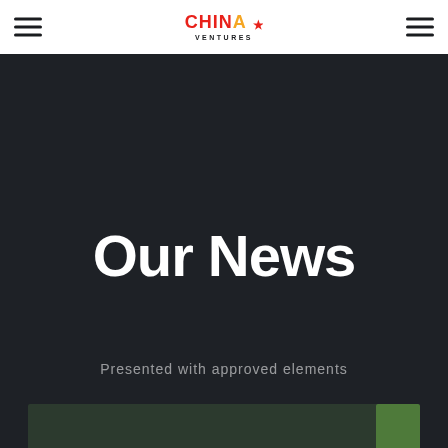China Ventures
Our News
Presented with approved elements
[Figure (photo): Partially visible image strip at the bottom of the page]